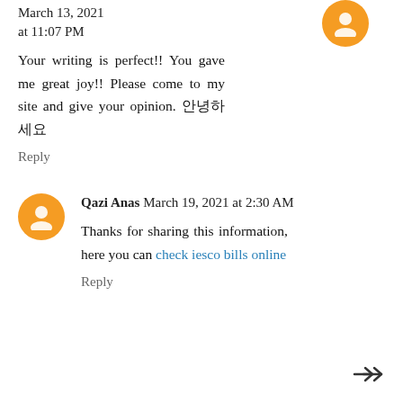March 13, 2021 at 11:07 PM
Your writing is perfect!! You gave me great joy!! Please come to my site and give your opinion. 안녕하세요
Reply
Qazi Anas March 19, 2021 at 2:30 AM
Thanks for sharing this information, here you can check iesco bills online
Reply